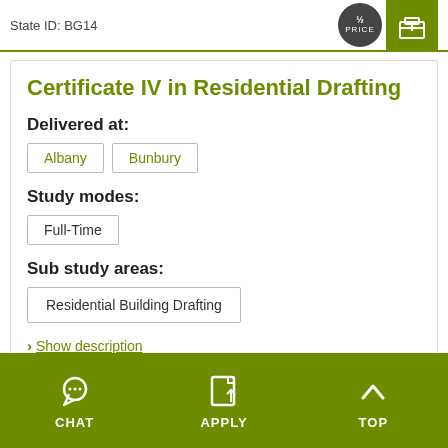State ID: BG14
Certificate IV in Residential Drafting
Delivered at:
Albany
Bunbury
Study modes:
Full-Time
Sub study areas:
Residential Building Drafting
Show description
CHAT    APPLY    TOP